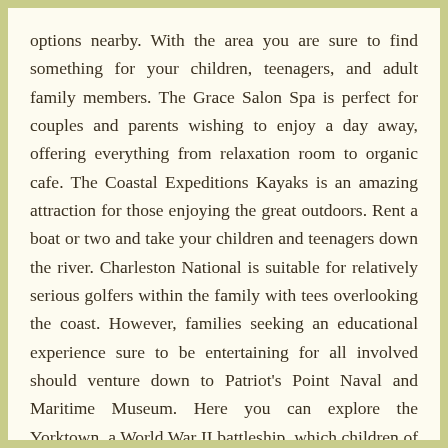options nearby. With the area you are sure to find something for your children, teenagers, and adult family members. The Grace Salon Spa is perfect for couples and parents wishing to enjoy a day away, offering everything from relaxation room to organic cafe. The Coastal Expeditions Kayaks is an amazing attraction for those enjoying the great outdoors. Rent a boat or two and take your children and teenagers down the river. Charleston National is suitable for relatively serious golfers within the family with tees overlooking the coast. However, families seeking an educational experience sure to be entertaining for all involved should venture down to Patriot's Point Naval and Maritime Museum. Here you can explore the Yorktown, a World War II battleship, which children of all ages love.¹ To meet your family's educational needs, this area has a variety of schools including Trident Academy as a private option and Belle Hall